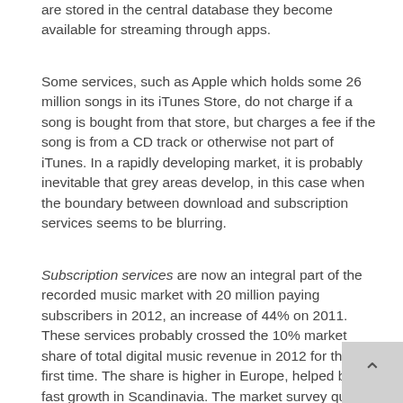are stored in the central database they become available for streaming through apps.
Some services, such as Apple which holds some 26 million songs in its iTunes Store, do not charge if a song is bought from that store, but charges a fee if the song is from a CD track or otherwise not part of iTunes. In a rapidly developing market, it is probably inevitable that grey areas develop, in this case when the boundary between download and subscription services seems to be blurring.
Subscription services are now an integral part of the recorded music market with 20 million paying subscribers in 2012, an increase of 44% on 2011. These services probably crossed the 10% market share of total digital music revenue in 2012 for the first time. The share is higher in Europe, helped by fast growth in Scandinavia. The market survey quoted in the next section illustrates the comp situation relative to downloading (see Chart 4).